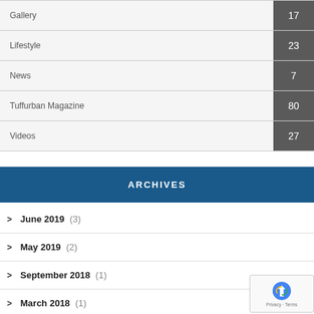| Category | Count |
| --- | --- |
| Gallery | 17 |
| Lifestyle | 23 |
| News | 7 |
| Tuffurban Magazine | 80 |
| Videos | 27 |
ARCHIVES
June 2019 (3)
May 2019 (2)
September 2018 (1)
March 2018 (1)